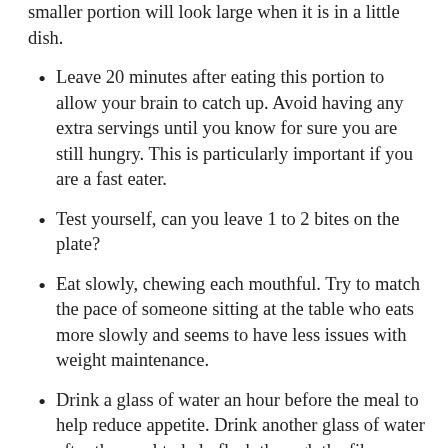smaller portion will look large when it is in a little dish.
Leave 20 minutes after eating this portion to allow your brain to catch up. Avoid having any extra servings until you know for sure you are still hungry. This is particularly important if you are a fast eater.
Test yourself, can you leave 1 to 2 bites on the plate?
Eat slowly, chewing each mouthful. Try to match the pace of someone sitting at the table who eats more slowly and seems to have less issues with weight maintenance.
Drink a glass of water an hour before the meal to help reduce appetite. Drink another glass of water after the meal to help flush through the fibre.
Many people like some sweet after a